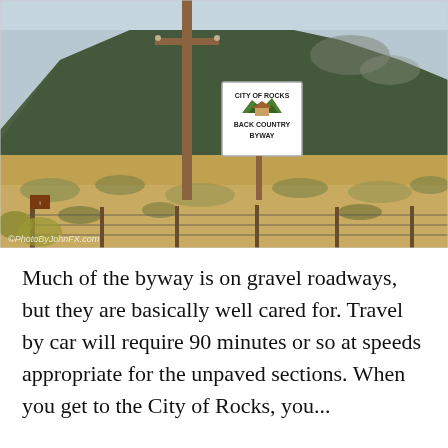[Figure (photo): Outdoor landscape photo showing a rural scene with a wooden utility pole, a 'City of Rocks Back Country Byway' road sign, dry grassland fields, scrub brush, a barbed wire fence, and a large forested mountain in the background. A watermark reads '©PhotoByJohnFX.com' in the lower left corner.]
Much of the byway is on gravel roadways, but they are basically well cared for. Travel by car will require 90 minutes or so at speeds appropriate for the unpaved sections. When you get to the City of Rocks, you...